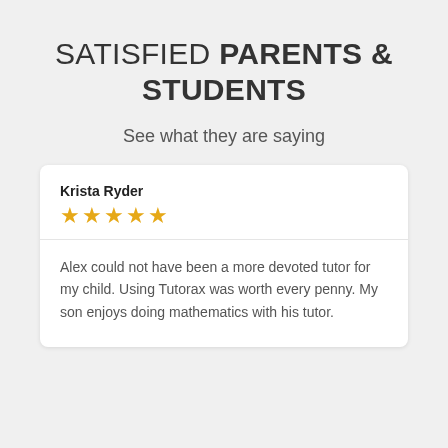SATISFIED PARENTS & STUDENTS
See what they are saying
Krista Ryder
★★★★★
Alex could not have been a more devoted tutor for my child. Using Tutorax was worth every penny. My son enjoys doing mathematics with his tutor.